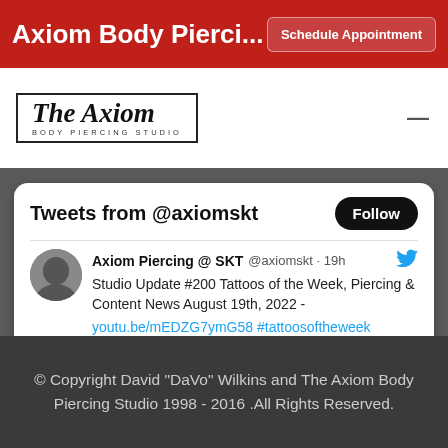Axiom Body Pierci...  Schedule Appointment
[Figure (logo): The Axiom Body Piercing Studio logo in a bordered box]
Tweets from @axiomskt
Follow
Axiom Piercing @ SKT @axiomskt · 19h
Studio Update #200 Tattoos of the Week, Piercing & Content News August 19th, 2022 - youtu.be/mEDZG7ymG58 #tattoosoftheweek #studioupdae #tattoo #tattooing #tattooartist #tattooart #tattooist #bodypiercing #piercing
© Copyright David "DaVo" Wilkins and The Axiom Body Piercing Studio 1998 - 2016 .All Rights Reserved.